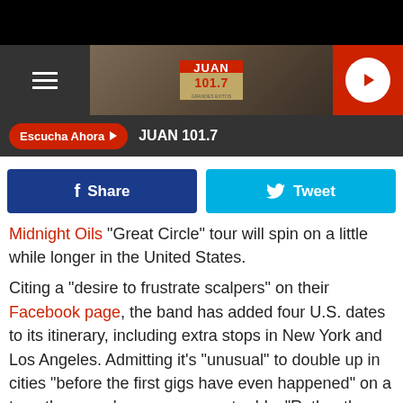[Figure (screenshot): Black top bar of mobile app]
[Figure (logo): Juan 101.7 radio station header with logo, hamburger menu, and play button]
Escucha Ahora  JUAN 101.7
[Figure (infographic): Facebook Share and Twitter Tweet social sharing buttons]
Midnight Oils "Great Circle" tour will spin on a little while longer in the United States.
Citing a "desire to frustrate scalpers" on their Facebook page, the band has added four U.S. dates to its itinerary, including extra stops in New York and Los Angeles. Admitting it's "unusual" to double up in cities "before the first gigs have even happened" on a tour, the group's announcement adds, "Rather than paying inflated prices via resellers to attend the imminent May shows, fans now have